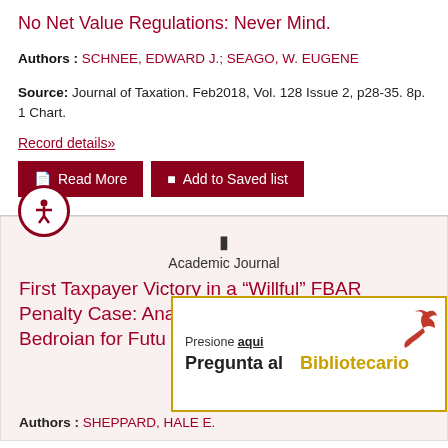No Net Value Regulations: Never Mind.
Authors : SCHNEE, EDWARD J.; SEAGO, W. EUGENE
Source: Journal of Taxation. Feb2018, Vol. 128 Issue 2, p28-35. 8p. 1 Chart.
Record details»
Read More
Add to Saved list
Academic Journal
First Taxpayer Victory in a “Willful” FBAR Penalty Case: Analyzing the Significance of Bedroian for Future Disputes (Part 1)
Presione aqui
Pregunta al Bibliotecario
Authors : SHEPPARD, HALE E.